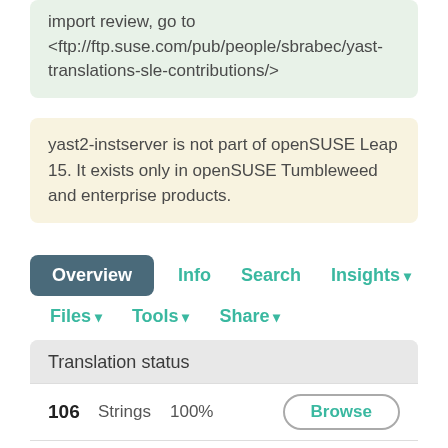import review, go to <ftp://ftp.suse.com/pub/people/sbrabec/yast-translations-sle-contributions/>
yast2-instserver is not part of openSUSE Leap 15. It exists only in openSUSE Tumbleweed and enterprise products.
Overview  Info  Search  Insights  Files  Tools  Share
| Count | Type | Percentage | Action |
| --- | --- | --- | --- |
| 106 | Strings | 100% | Browse |
| 889 | Words | 100% | Translate |